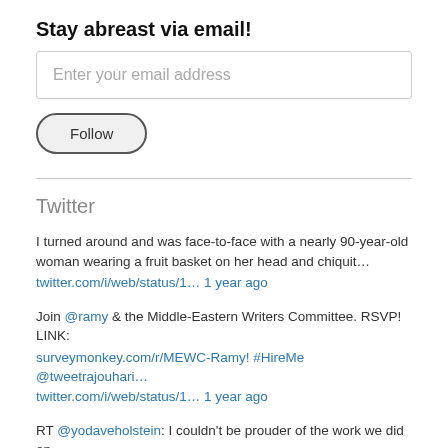Stay abreast via email!
Enter your email address
Follow
Twitter
I turned around and was face-to-face with a nearly 90-year-old woman wearing a fruit basket on her head and chiquit… twitter.com/i/web/status/1… 1 year ago
Join @ramy & the Middle-Eastern Writers Committee. RSVP! LINK: surveymonkey.com/r/MEWC-Ramy! #HireMe @tweetrajouhari… twitter.com/i/web/status/1… 1 year ago
RT @yodaveholstein: I couldn't be prouder of the work we did on @shokidding. I got to wake up every day and get paid to be as